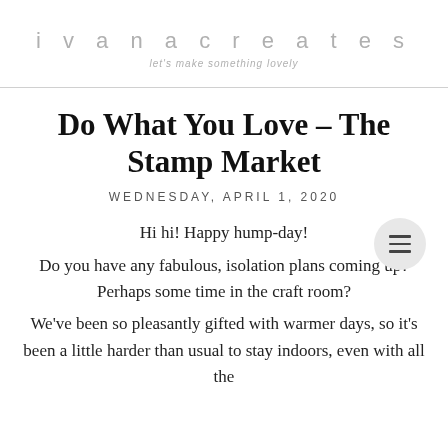ivanacreates
let's make something lovely
Do What You Love – The Stamp Market
WEDNESDAY, APRIL 1, 2020
Hi hi! Happy hump-day!
Do you have any fabulous, isolation plans coming up? Perhaps some time in the craft room?
We've been so pleasantly gifted with warmer days, so it's been a little harder than usual to stay indoors, even with all the